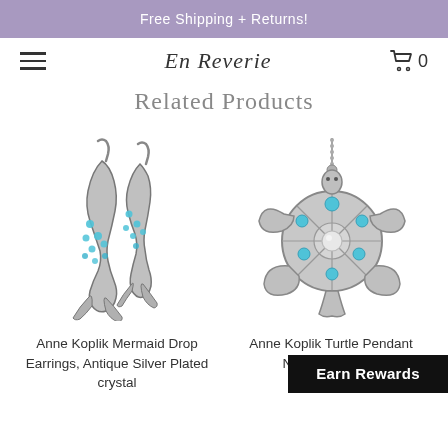Free Shipping + Returns!
En Reverie  0
Related Products
[Figure (photo): Two silver mermaid drop earrings with blue crystal embellishments, antique silver plated]
[Figure (photo): Silver turtle pendant necklace with turquoise/blue crystal embellishments on a bead chain]
Anne Koplik Mermaid Drop Earrings, Antique Silver Plated crystal
Anne Koplik Turtle Pendant Necklace, Silver
Earn Rewards